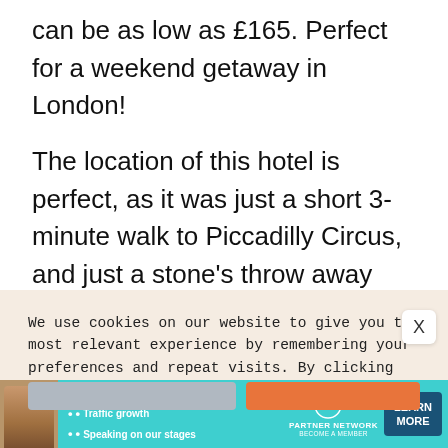can be as low as £165. Perfect for a weekend getaway in London!
The location of this hotel is perfect, as it was just a short 3-minute walk to Piccadilly Circus, and just a stone's throw away from Regents Street and Oxford Street, which are some of the most famous shopping streets around the
We use cookies on our website to give you the most relevant experience by remembering your preferences and repeat visits. By clicking "Accept", you consent to the use of ALL the cookies.
Do not sell my personal information.
[Figure (infographic): SHE Partner Network advertisement banner with woman photo, bullet points about earning, traffic, speaking, SHE logo, and Learn More button]